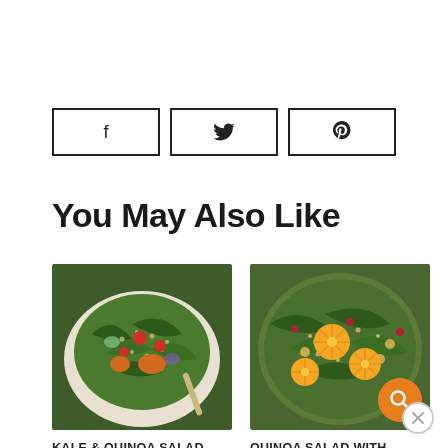[Figure (other): Row of three social sharing buttons: Facebook (f), Twitter (bird icon), Pinterest (P)]
You May Also Like
[Figure (photo): Photo of Kale & Quinoa Salad in a bowl]
KALE & QUINOA SALAD
[Figure (photo): Photo of Quinoa Salad with Orange, Cranberry & Mint in a bowl, with search icon overlay]
QUINOA SALAD WITH ORANGE, CRANBERRY & MINT